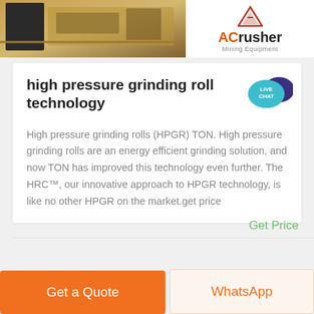[Figure (photo): Top banner showing mining/crushing equipment photo on the left and ACrusher Mining Equipment logo on the right]
high pressure grinding roll technology
High pressure grinding rolls (HPGR) TON. High pressure grinding rolls are an energy efficient grinding solution, and now TON has improved this technology even further. The HRC™, our innovative approach to HPGR technology, is like no other HPGR on the market.get price
Get Price
Get a Quote
WhatsApp